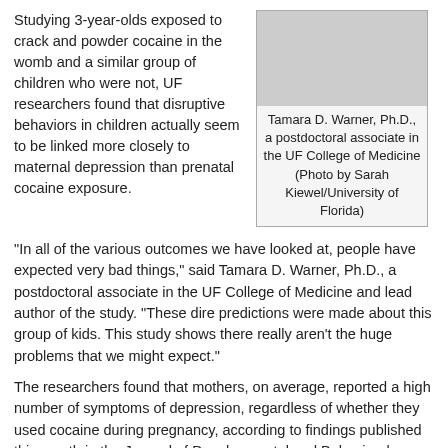Studying 3-year-olds exposed to crack and powder cocaine in the womb and a similar group of children who were not, UF researchers found that disruptive behaviors in children actually seem to be linked more closely to maternal depression than prenatal cocaine exposure.
[Figure (photo): Photo of Tamara D. Warner, Ph.D., a postdoctoral associate in the UF College of Medicine (Photo by Sarah Kiewel/University of Florida)]
Tamara D. Warner, Ph.D., a postdoctoral associate in the UF College of Medicine (Photo by Sarah Kiewel/University of Florida)
"In all of the various outcomes we have looked at, people have expected very bad things," said Tamara D. Warner, Ph.D., a postdoctoral associate in the UF College of Medicine and lead author of the study. "These dire predictions were made about this group of kids. This study shows there really aren't the huge problems that we might expect."
The researchers found that mothers, on average, reported a high number of symptoms of depression, regardless of whether they used cocaine during pregnancy, according to findings published this month in the Journal of Developmental and Behavioral Pediatrics. Biological mothers also tended to report more behavioral problems than nonmaternal caregivers and foster parents, who were caring for about half the cocaine-exposed children by the time they reached 3.